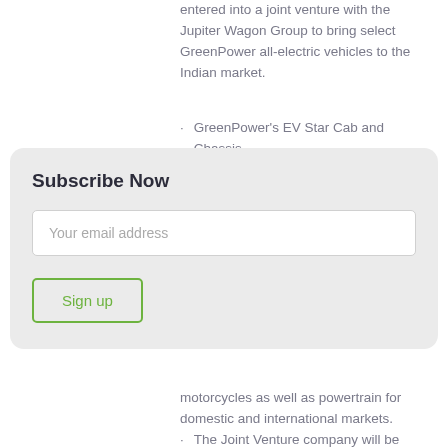entered into a joint venture with the Jupiter Wagon Group to bring select GreenPower all-electric vehicles to the Indian market.
GreenPower's EV Star Cab and Chassis
[Figure (screenshot): Subscribe Now overlay card with email input field and Sign up button]
motorcycles as well as powertrain for domestic and international markets.
The Joint Venture company will be based in India and commence production